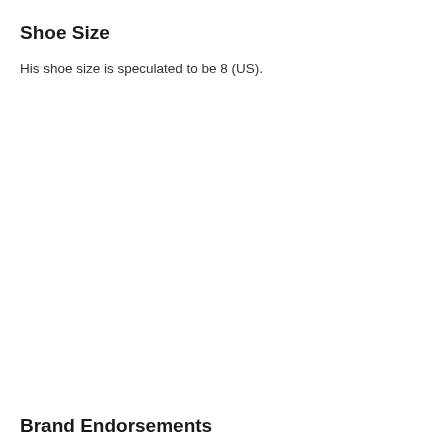Shoe Size
His shoe size is speculated to be 8 (US).
Brand Endorsements